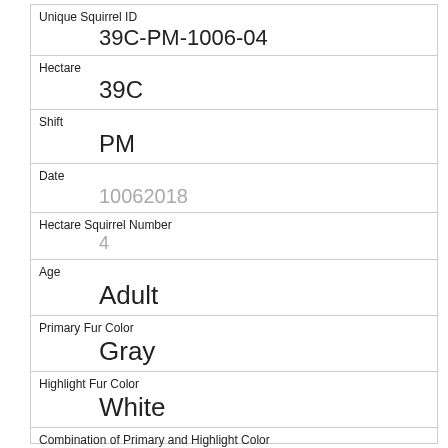| Unique Squirrel ID | 39C-PM-1006-04 |
| Hectare | 39C |
| Shift | PM |
| Date | 10062018 |
| Hectare Squirrel Number | 4 |
| Age | Adult |
| Primary Fur Color | Gray |
| Highlight Fur Color | White |
| Combination of Primary and Highlight Color | Gray+White |
| Color notes |  |